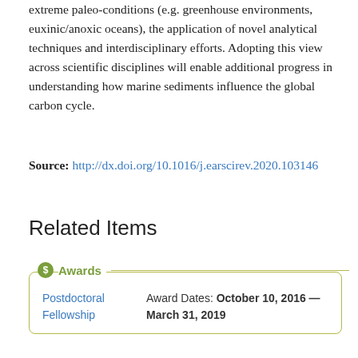extreme paleo-conditions (e.g. greenhouse environments, euxinic/anoxic oceans), the application of novel analytical techniques and interdisciplinary efforts. Adopting this view across scientific disciplines will enable additional progress in understanding how marine sediments influence the global carbon cycle.
Source: http://dx.doi.org/10.1016/j.earscirev.2020.103146
Related Items
|  |  |
| --- | --- |
| Postdoctoral Fellowship | Award Dates: October 10, 2016 — March 31, 2019 |